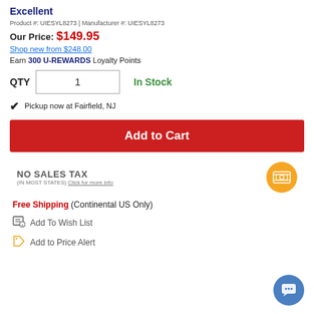Excellent
Product #: UIESYL8273 | Manufacturer #: UIESYL8273
Our Price: $149.95
Shop new from $248.00
Earn 300 U-REWARDS Loyalty Points
QTY 1  In Stock
Pickup now at Fairfield, NJ
Add to Cart
NO SALES TAX (IN MOST STATES) Click for more info
Free Shipping (Continental US Only)
Add To Wish List
Add to Price Alert